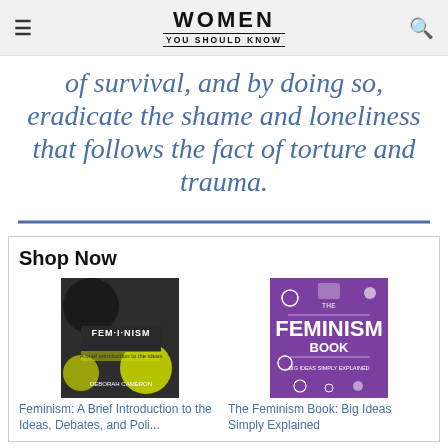WOMEN YOU SHOULD KNOW
of survival, and by doing so, eradicate the shame and loneliness that follows the fact of torture and trauma.
[Figure (illustration): Horizontal blue divider line]
Shop Now
[Figure (photo): Book cover: Feminism: A Brief Introduction to the Ideas, Debates, and Poli... by Deborah Cameron]
[Figure (photo): Book cover: The Feminism Book: Big Ideas Simply Explained]
Feminism: A Brief Introduction to the Ideas, Debates, and Poli...
The Feminism Book: Big Ideas Simply Explained